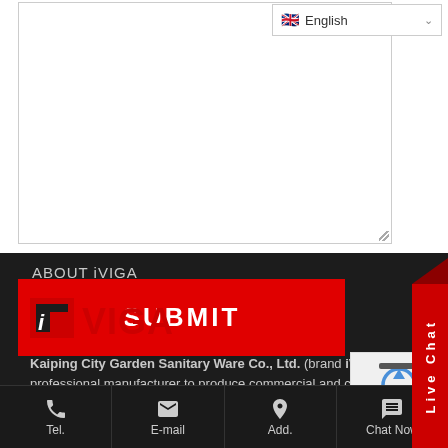[Figure (screenshot): Textarea input box with border, partially visible, with a language selector dropdown showing English with UK flag in top right corner]
[Figure (other): Red SUBMIT button]
[Figure (other): Live Chat vertical tab on right side, red background with white text]
ABOUT iVIGA
[Figure (logo): iVIGA brand logo in red on dark background]
Kaiping City Garden Sanitary Ware Co., Ltd. (brand iVIGA) is a professional manufacturer to produce commercial and civil faucets a
[Figure (other): Bottom navigation bar with Tel., E-mail, Add., Chat Now icons]